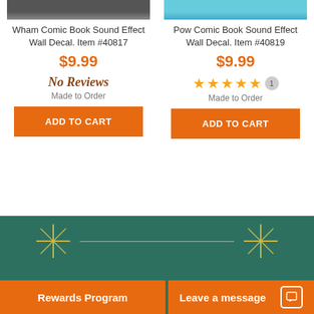[Figure (screenshot): Product image for Wham Comic Book Sound Effect Wall Decal (partially visible, top cropped)]
Wham Comic Book Sound Effect Wall Decal. Item #40817
$9.99
No Reviews
Made to Order
ADD TO CART
[Figure (screenshot): Product image for Pow Comic Book Sound Effect Wall Decal (partially visible, top cropped)]
Pow Comic Book Sound Effect Wall Decal. Item #40819
$9.99
★★★★★ 1
Made to Order
ADD TO CART
[Figure (illustration): Teal/green footer banner with sparkle star decorations and horizontal line]
Rewards Program
Leave a message